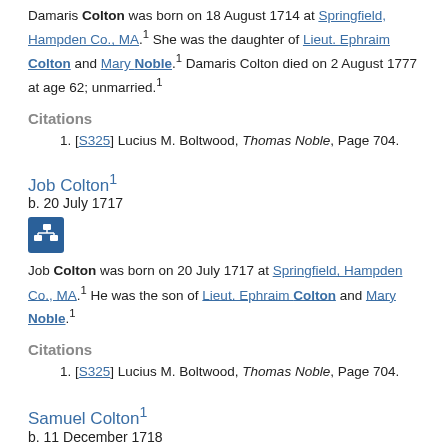Damaris Colton was born on 18 August 1714 at Springfield, Hampden Co., MA.[1] She was the daughter of Lieut. Ephraim Colton and Mary Noble.[1] Damaris Colton died on 2 August 1777 at age 62; unmarried.[1]
Citations
[S325] Lucius M. Boltwood, Thomas Noble, Page 704.
Job Colton[1]
b. 20 July 1717
[Figure (other): Pedigree/family tree icon button]
Job Colton was born on 20 July 1717 at Springfield, Hampden Co., MA.[1] He was the son of Lieut. Ephraim Colton and Mary Noble.[1]
Citations
[S325] Lucius M. Boltwood, Thomas Noble, Page 704.
Samuel Colton[1]
b. 11 December 1718